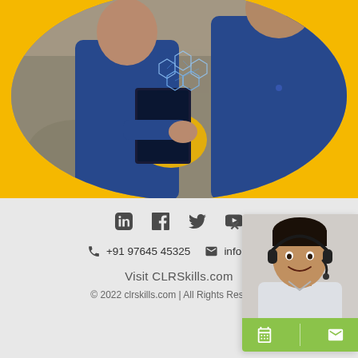[Figure (photo): Two workers in blue uniforms, one holding a tablet with holographic icons, in an industrial/training setting. Photo is displayed inside a circular crop on a yellow background.]
[Figure (photo): Customer support representative (man with headset and smile) shown in a chat widget overlay on the right side of the page.]
in  f  🐦  ▶
+91 97645 45325    info@clr...
Visit CLRSkills.com
© 2022 clrskills.com | All Rights Reserved